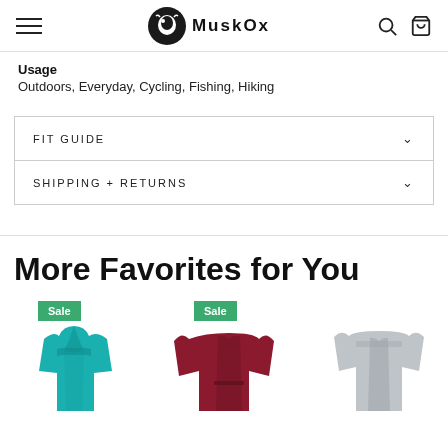MuskOx
Usage
Outdoors, Everyday, Cycling, Fishing, Hiking
FIT GUIDE
SHIPPING + RETURNS
More Favorites for You
[Figure (photo): Three product images partially visible: a teal hoodie with Sale badge, a maroon/burgundy sweater with Sale badge, and a grey shirt/jacket. All partially cut off at bottom of page.]